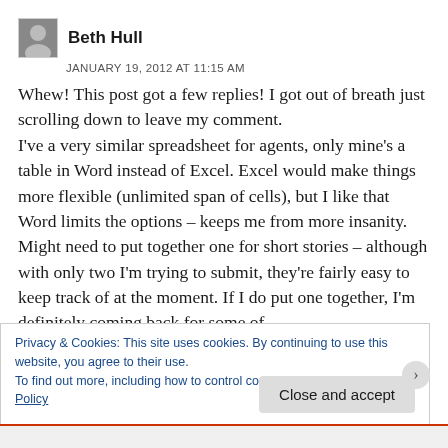Beth Hull
JANUARY 19, 2012 AT 11:15 AM
Whew! This post got a few replies! I got out of breath just scrolling down to leave my comment.
I've a very similar spreadsheet for agents, only mine's a table in Word instead of Excel. Excel would make things more flexible (unlimited span of cells), but I like that Word limits the options – keeps me from more insanity. Might need to put together one for short stories – although with only two I'm trying to submit, they're fairly easy to keep track of at the moment. If I do put one together, I'm definitely coming back for some of
Privacy & Cookies: This site uses cookies. By continuing to use this website, you agree to their use.
To find out more, including how to control cookies, see here: Cookie Policy
Close and accept